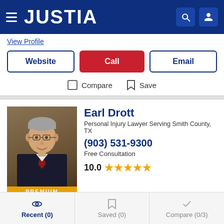JUSTIA
View Profile
Website | Call | Email
Compare   Save
Earl Drott
Personal Injury Lawyer Serving Smith County, TX
(903) 531-9300
Free Consultation
10.0 ★★★★★
Free Consultation! A Personal Injury Lawyer Who Won't Back Down!Call for Help!
View Profile
Recent (0)   Saved (0)   Compare (0/3)